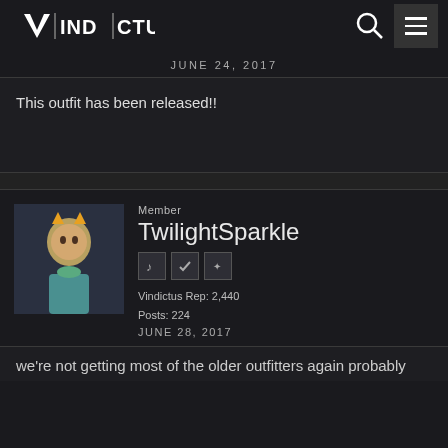VINDICTUS
JUNE 24, 2017
This outfit has been released!!
Member
TwilightSparkle
Vindictus Rep: 2,440
Posts: 224
JUNE 28, 2017
we're not getting most of the older outfitters again probably